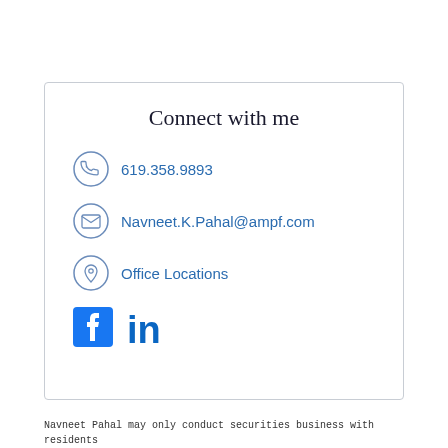Connect with me
619.358.9893
Navneet.K.Pahal@ampf.com
Office Locations
[Figure (logo): Facebook and LinkedIn social media icons]
Navneet Pahal may only conduct securities business with residents of states in which the advisor is properly registered. Please refer to FINRA's BrokerCheck website for a list of those states.